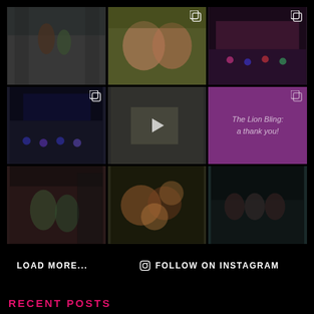[Figure (photo): Instagram grid of 9 photos/videos showing dance classes and performances]
LOAD MORE...
FOLLOW ON INSTAGRAM
RECENT POSTS